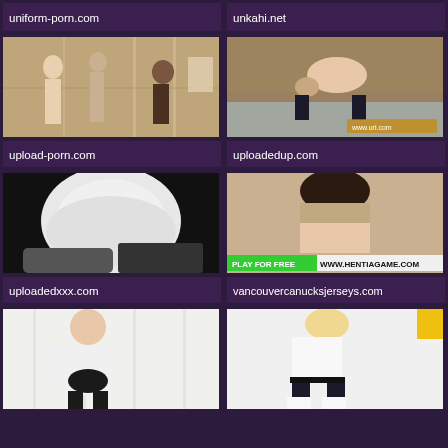uniform-porn.com
unkahi.net
[Figure (photo): Locker room photo]
upload-porn.com
[Figure (photo): Outdoor photo]
uploadedup.com
[Figure (photo): Dark background photo]
uploadedxxx.com
[Figure (photo): Hentiagame.com watermark photo]
vancouvercanucksjerseys.com
[Figure (photo): White background photo left]
[Figure (photo): White background photo right]